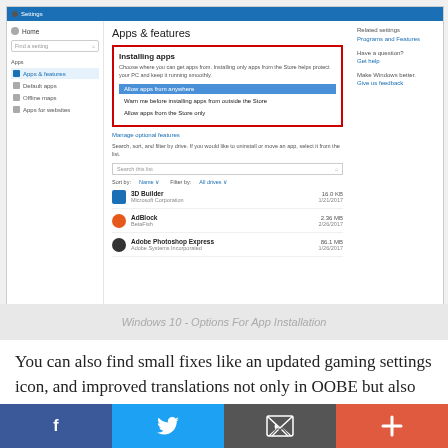[Figure (screenshot): Windows 10 Settings screenshot showing Apps & features page with Installing apps section highlighted in red border. Options shown: Allow apps from anywhere (selected/highlighted in blue), Warn me before installing apps from outside the Store, Allow apps from the Store only. Below shows app list with 3D Builder, AdBlock, Adobe Photoshop Express.]
Windows 10 - Options For App Installation
You can also find small fixes like an updated gaming settings icon, and improved translations not only in OOBE but also across the entire operating system. Microsoft has also implemented plenty of fixes and other
[Figure (other): Social sharing bar with Facebook, Twitter, email/envelope, and plus buttons]